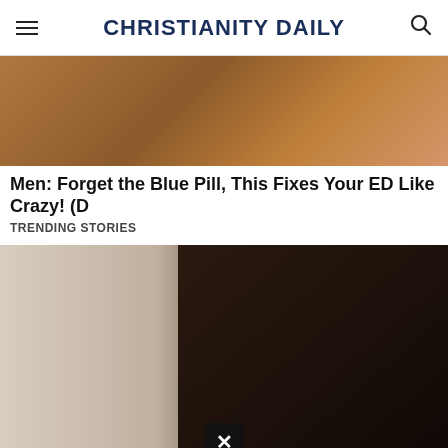CHRISTIANITY DAILY
[Figure (photo): Partial cropped photo showing warm brown tones, top portion of an advertisement image]
Men: Forget the Blue Pill, This Fixes Your ED Like Crazy! (D
TRENDING STORIES
[Figure (photo): Portrait photo of a person with dark hair against a light beige/cream wall background, with dark hair visible on the right side. A black close button with an X is shown at the bottom center.]